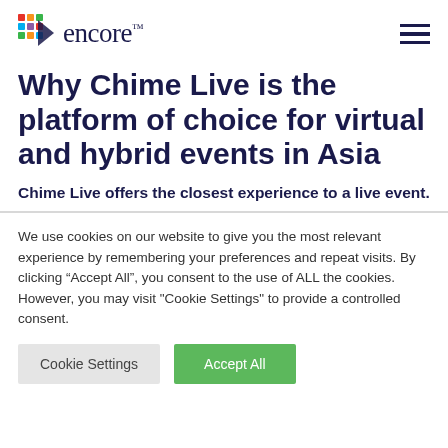[Figure (logo): Encore logo with colorful diamond/dot icon and 'encore' text in dark navy serif font]
Why Chime Live is the platform of choice for virtual and hybrid events in Asia
Chime Live offers the closest experience to a live event.
We use cookies on our website to give you the most relevant experience by remembering your preferences and repeat visits. By clicking "Accept All", you consent to the use of ALL the cookies. However, you may visit "Cookie Settings" to provide a controlled consent.